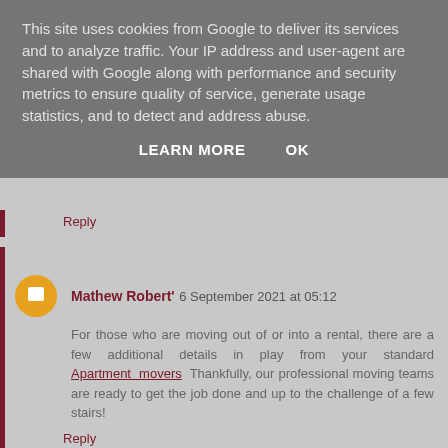This site uses cookies from Google to deliver its services and to analyze traffic. Your IP address and user-agent are shared with Google along with performance and security metrics to ensure quality of service, generate usage statistics, and to detect and address abuse.
LEARN MORE   OK
Reply
Mathew Robert'  6 September 2021 at 05:12
For those who are moving out of or into a rental, there are a few additional details in play from your standard Apartment movers  Thankfully, our professional moving teams are ready to get the job done and up to the challenge of a few stairs!
Reply
Singapore citizenship  8 September 2021 at 04:04